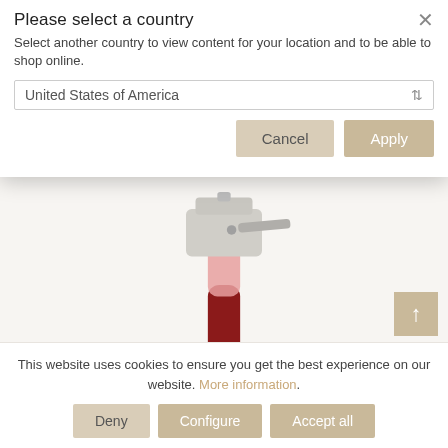[Figure (screenshot): DT&GOLDART website screenshot showing country selector modal, product image of a Joint Cutter tool, and cookie consent bar]
Please select a country
Select another country to view content for your location and to be able to shop online.
United States of America
Cancel  Apply
Joint Cutter
This website uses cookies to ensure you get the best experience on our website. More information.
Deny  Configure  Accept all